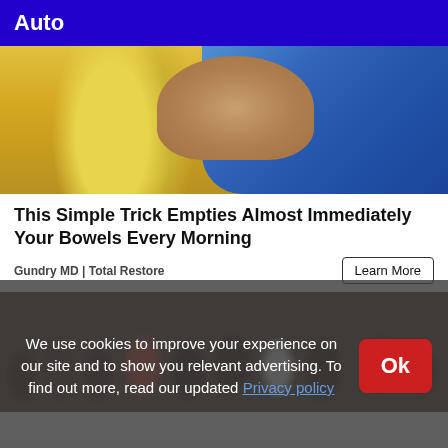Auto
[Figure (photo): Close-up photo of a person peeling a banana, with a blue garment visible in the background.]
This Simple Trick Empties Almost Immediately Your Bowels Every Morning
Gundry MD | Total Restore
Learn More
[Figure (photo): A group of people standing together, appearing to be a crowd photo with a red wall visible on the left and a brick pattern in the background.]
We use cookies to improve your experience on our site and to show you relevant advertising. To find out more, read our updated Privacy policy